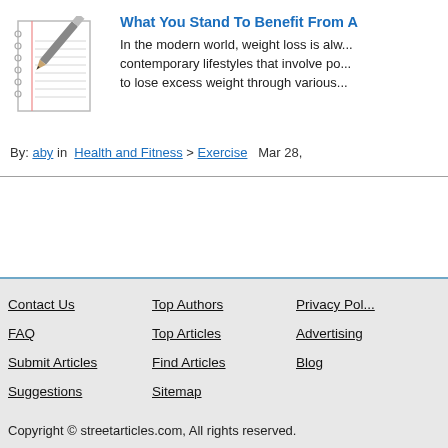[Figure (illustration): Notepad with pencil icon]
What You Stand To Benefit From A ...
In the modern world, weight loss is alw... contemporary lifestyles that involve po... to lose excess weight through various...
By: aby in Health and Fitness > Exercise Mar 28,
Contact Us | FAQ | Submit Articles | Suggestions | Top Authors | Top Articles | Find Articles | Sitemap | Privacy Pol... | Advertising | Blog | Copyright © streetarticles.com, All rights reserved.